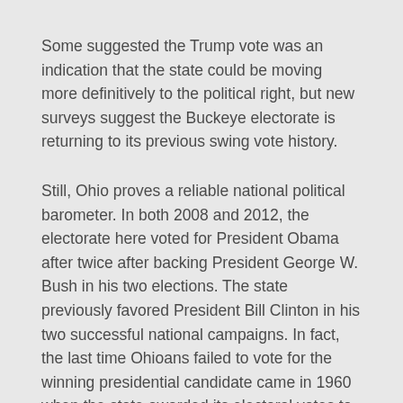Some suggested the Trump vote was an indication that the state could be moving more definitively to the political right, but new surveys suggest the Buckeye electorate is returning to its previous swing vote history.
Still, Ohio proves a reliable national political barometer. In both 2008 and 2012, the electorate here voted for President Obama after twice after backing President George W. Bush in his two elections. The state previously favored President Bill Clinton in his two successful national campaigns. In fact, the last time Ohioans failed to vote for the winning presidential candidate came in 1960 when the state awarded its electoral votes to Republican Richard Nixon in his national losing effort against John F. Kennedy.